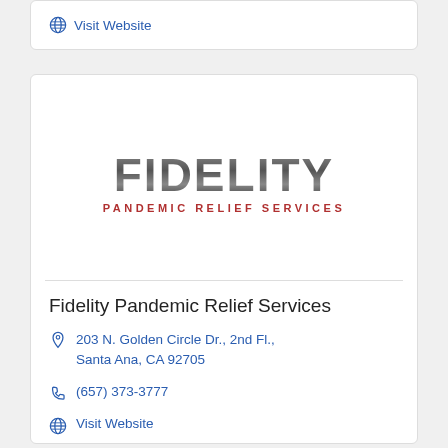Visit Website
[Figure (logo): Fidelity Pandemic Relief Services logo: FIDELITY in large textured gray font, PANDEMIC RELIEF SERVICES in small red spaced uppercase below]
Fidelity Pandemic Relief Services
203 N. Golden Circle Dr., 2nd Fl., Santa Ana, CA 92705
(657) 373-3777
Visit Website